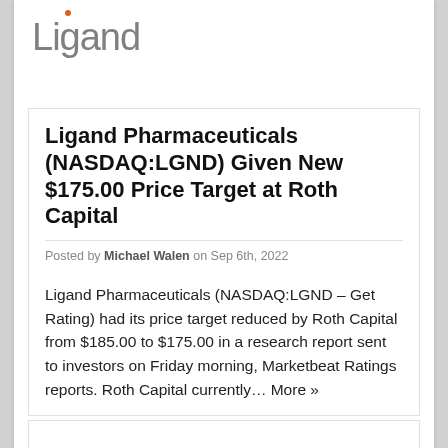[Figure (logo): Ligand Pharmaceuticals logo — word 'Ligand' in gray with orange dot above the letter i]
Ligand Pharmaceuticals (NASDAQ:LGND) Given New $175.00 Price Target at Roth Capital
Posted by Michael Walen on Sep 6th, 2022
Ligand Pharmaceuticals (NASDAQ:LGND – Get Rating) had its price target reduced by Roth Capital from $185.00 to $175.00 in a research report sent to investors on Friday morning, Marketbeat Ratings reports. Roth Capital currently… More »